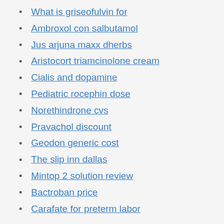What is griseofulvin for
Ambroxol con salbutamol
Jus arjuna maxx dherbs
Aristocort triamcinolone cream
Cialis and dopamine
Pediatric rocephin dose
Norethindrone cvs
Pravachol discount
Geodon generic cost
The slip inn dallas
Mintop 2 solution review
Bactroban price
Carafate for preterm labor